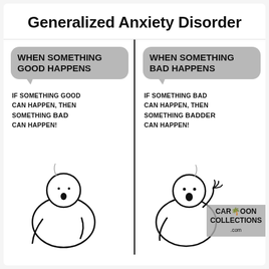Generalized Anxiety Disorder
[Figure (illustration): Two-panel comic strip about Generalized Anxiety Disorder. Left panel: heading 'WHEN SOMETHING GOOD HAPPENS' in gray speech bubble, caption text 'IF SOMETHING GOOD CAN HAPPEN, THEN SOMETHING BAD CAN HAPPEN!' with stick figure looking worried. Right panel: heading 'WHEN SOMETHING BAD HAPPENS' in gray speech bubble, caption text 'IF SOMETHING BAD CAN HAPPEN, THEN SOMETHING BADDER CAN HAPPEN!' with stick figure looking alarmed.]
CARTOON COLLECTIONS .com